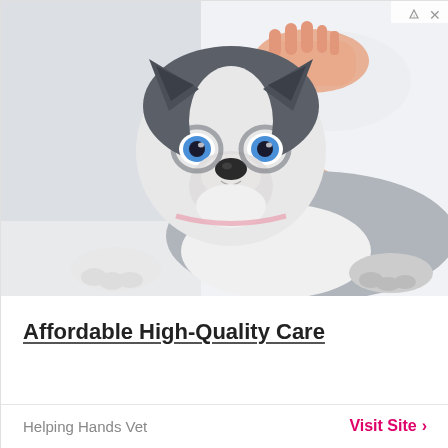[Figure (photo): A Siberian Husky puppy with blue eyes being examined by a veterinarian in a white coat, lying on a clinical table. The vet's hands are gently holding the puppy's head. Blue lanyard visible around the vet's neck.]
Affordable High-Quality Care
Helping Hands Vet
Visit Site >